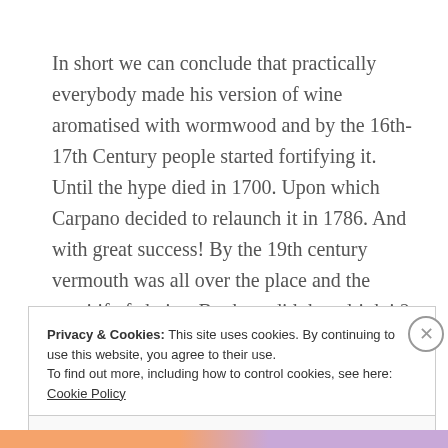In short we can conclude that practically everybody made his version of wine aromatised with wormwood and by the 16th-17th Century people started fortifying it. Until the hype died in 1700. Upon which Carpano decided to relaunch it in 1786. And with great success! By the 19th century vermouth was all over the place and the aperitif of choice. But how did they drink it?
Privacy & Cookies: This site uses cookies. By continuing to use this website, you agree to their use. To find out more, including how to control cookies, see here: Cookie Policy
Close and accept